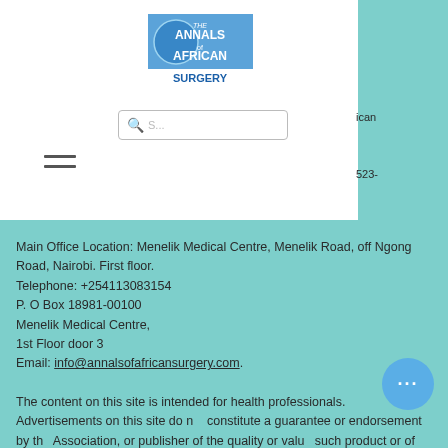[Figure (logo): The Annals of African Surgery logo - blue and white journal masthead]
[Figure (screenshot): Search bar input field]
[Figure (other): Hamburger menu icon (three horizontal lines)]
ican
523-
Main Office Location: Menelik Medical Centre, Menelik Road, off Ngong Road, Nairobi. First floor.
Telephone: +254113083154
P. O Box 18981-00100
Menelik Medical Centre,
1st Floor door 3
Email: info@annalsofafricansurgery.com.
The content on this site is intended for health professionals. Advertisements on this site do not constitute a guarantee or endorsement by the Association, or publisher of the quality or value of such product or of the claims made for it by its